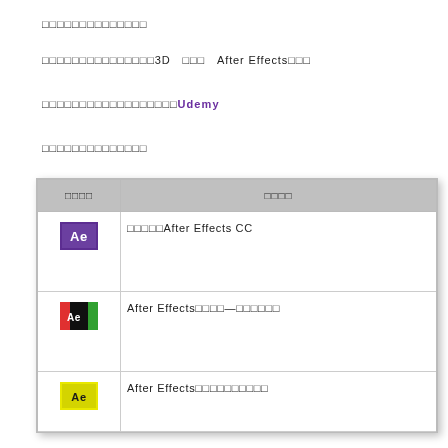□□□□□□□□□□□□□□
□□□□□□□□□□□□□□□3D □□□ After Effects□□□
□□□□□□□□□□□□□□□□□□Udemy
□□□□□□□□□□□□□□
| □□□□ | □□□□ |
| --- | --- |
| [icon] | □□□□□After Effects CC |
| [icon] | After Effects□□□□—□□□□□□ |
| [icon] | After Effects□□□□□□□□□□ |